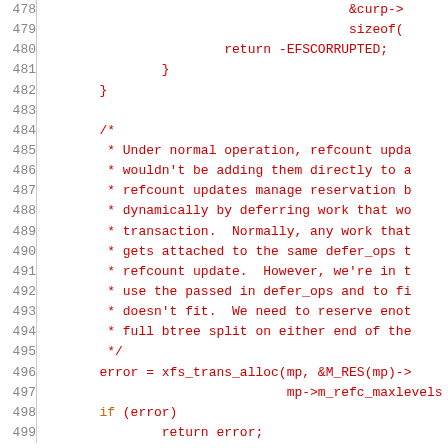Source code listing lines 478-499, C code with line numbers. Contains closing braces, a comment block about refcount updates and defer_ops, and code calling xfs_trans_alloc.